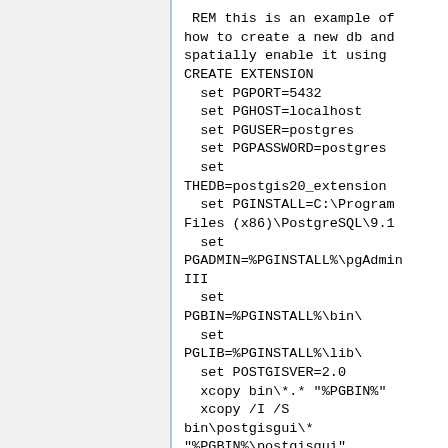REM this is an example of how to create a new db and spatially enable it using CREATE EXTENSION
  set PGPORT=5432
  set PGHOST=localhost
  set PGUSER=postgres
  set PGPASSWORD=postgres
  set THEDB=postgis20_extension
  set PGINSTALL=C:\Program Files (x86)\PostgreSQL\9.1
  set PGADMIN=%PGINSTALL%\pgAdminIII
  set PGBIN=%PGINSTALL%\bin\
  set PGLIB=%PGINSTALL%\lib\
  set POSTGISVER=2.0
  xcopy bin\*.* "%PGBIN%"
  xcopy /I /S bin\postgisgui\* "%PGBIN%\postgisgui"